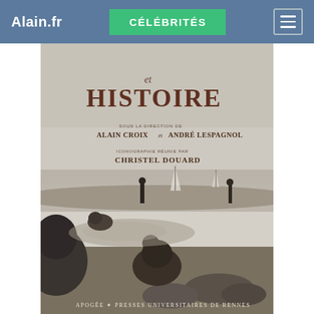Alain.fr | CÉLÉBRITÉS
[Figure (photo): Book cover titled 'et Histoire' with subtitle 'sous la direction de Alain Croix et André Lespagnol', iconographie réunie par Christel Douard, published by Apogée • Presses Universitaires de Rennes. Black and white photograph of people on a coastal shoreline with sailboats in the background.]